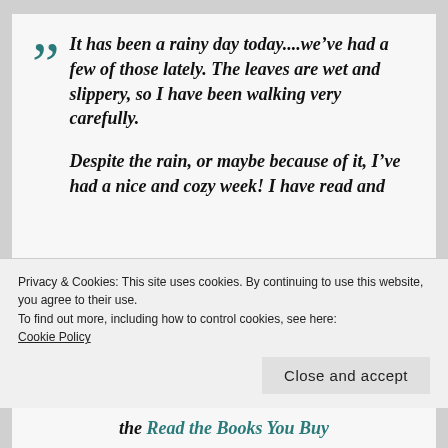“It has been a rainy day today....we’ve had a few of those lately.  The leaves are wet and slippery, so I have been walking very carefully.

Despite the rain, or maybe because of it, I’ve had a nice and cozy week!  I have read and
Privacy & Cookies: This site uses cookies. By continuing to use this website, you agree to their use.
To find out more, including how to control cookies, see here: Cookie Policy
the Read the Books You Buy